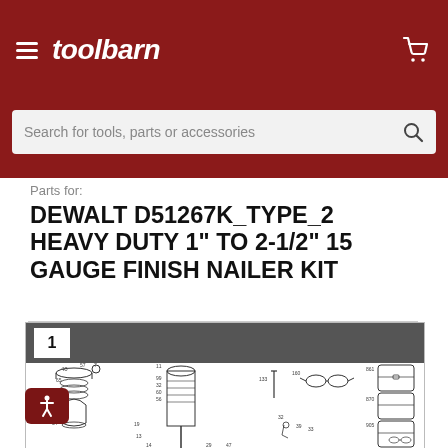toolbarn — navigation header with hamburger menu and cart icon
Search for tools, parts or accessories
Parts for:
DEWALT D51267K_TYPE_2 HEAVY DUTY 1" TO 2-1/2" 15 GAUGE FINISH NAILER KIT
[Figure (engineering-diagram): Exploded parts diagram for DEWALT D51267K_TYPE_2 finish nailer showing numbered components including springs, housing, cylinder, piston, and accessories such as safety glasses and carrying case. Diagram panel labeled '1'.]